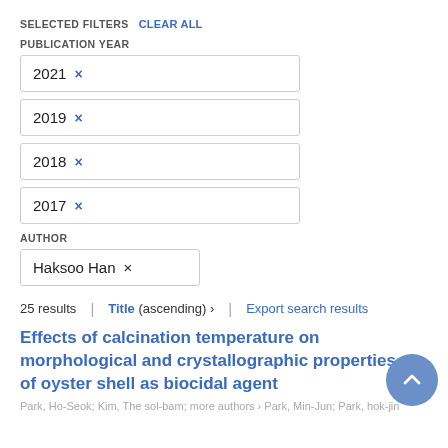SELECTED FILTERS  CLEAR ALL
PUBLICATION YEAR
2021 ×
2019 ×
2018 ×
2017 ×
AUTHOR
Haksoo Han ×
25 results  |  Title (ascending) ›  |  Export search results
Effects of calcination temperature on morphological and crystallographic properties of oyster shell as biocidal agent